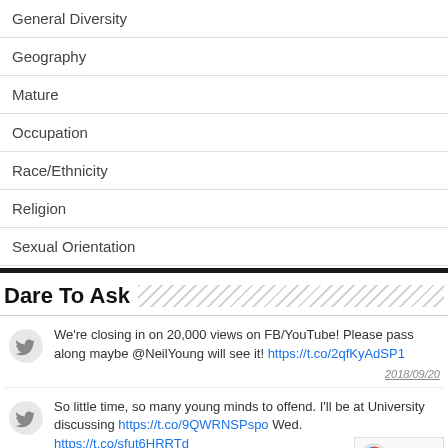General Diversity
Geography
Mature
Occupation
Race/Ethnicity
Religion
Sexual Orientation
Dare To Ask
We're closing in on 20,000 views on FB/YouTube! Please pass along maybe @NeilYoung will see it! https://t.co/2qfKyAdSP1 2018/09/20
So little time, so many young minds to offend. I'll be at University discussing https://t.co/9QWRNSPspo Wed. https://t.co/sfut6HRRTd 2018/09/17